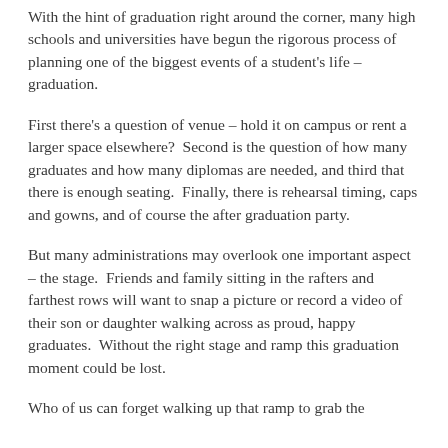With the hint of graduation right around the corner, many high schools and universities have begun the rigorous process of planning one of the biggest events of a student's life – graduation.
First there's a question of venue – hold it on campus or rent a larger space elsewhere?  Second is the question of how many graduates and how many diplomas are needed, and third that there is enough seating.  Finally, there is rehearsal timing, caps and gowns, and of course the after graduation party.
But many administrations may overlook one important aspect – the stage.  Friends and family sitting in the rafters and farthest rows will want to snap a picture or record a video of their son or daughter walking across as proud, happy graduates.  Without the right stage and ramp this graduation moment could be lost.
Who of us can forget walking up that ramp to grab the